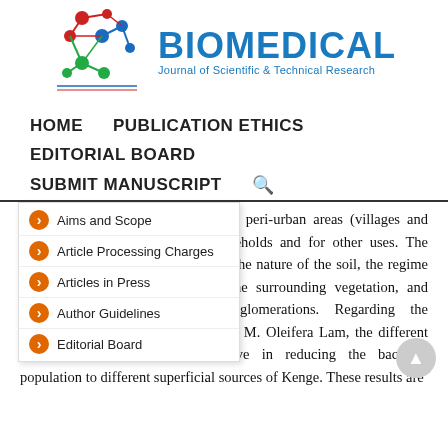[Figure (logo): Biomedical Journal of Scientific & Technical Research logo with molecule graphic and blue text]
HOME   PUBLICATION ETHICS   EDITORIAL BOARD   SUBMIT MANUSCRIPT 🔍
Aims and Scope
Article Processing Charges
Articles in Press
Author Guidelines
Editorial Board
the main sources used in rural and peri-urban areas (villages and cities). ) to provide food for households and for other uses. The quality of these articles depends on the nature of the soil, the regime of rain and other precipitations, the surrounding vegetation, and especially the proximity of agglomerations. Regarding the effectiveness of the kernel kernel of M. Oleifera Lam, the different doses showed sufficiently effective in reducing the bacterial population to different superficial sources of Kenge. These results are